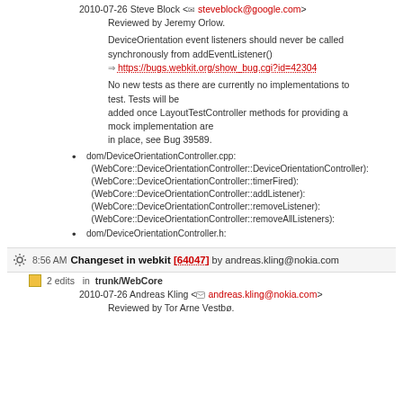2010-07-26 Steve Block <steveblock@google.com>
Reviewed by Jeremy Orlow.
DeviceOrientation event listeners should never be called synchronously from addEventListener()
=> https://bugs.webkit.org/show_bug.cgi?id=42304
No new tests as there are currently no implementations to test. Tests will be added once LayoutTestController methods for providing a mock implementation are in place, see Bug 39589.
dom/DeviceOrientationController.cpp:
(WebCore::DeviceOrientationController::DeviceOrientationController):
(WebCore::DeviceOrientationController::timerFired):
(WebCore::DeviceOrientationController::addListener):
(WebCore::DeviceOrientationController::removeListener):
(WebCore::DeviceOrientationController::removeAllListeners):
dom/DeviceOrientationController.h:
8:56 AM Changeset in webkit [64047] by andreas.kling@nokia.com
2 edits in trunk/WebCore
2010-07-26 Andreas Kling <andreas.kling@nokia.com>
Reviewed by Tor Arne Vestbø.